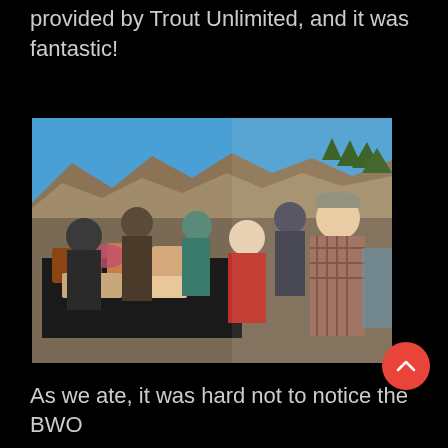provided by Trout Unlimited, and it was fantastic!
[Figure (photo): Group of people gathered outdoors around a table with food, with mountains and trees in the background under a clear blue sky. People are serving themselves from boxes and containers on the table. One man in a plaid shirt and cap is smiling at the camera.]
As we ate, it was hard not to notice the BWO